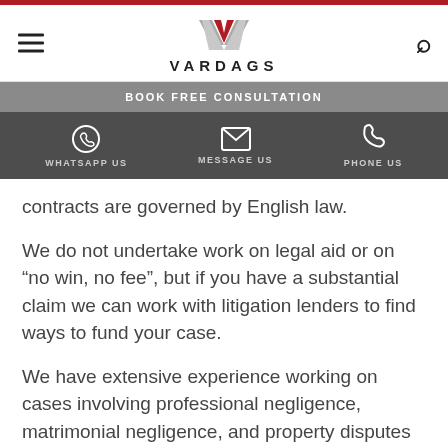VARDAGS
BOOK FREE CONSULTATION
WHATSAPP US  MESSAGE US  PHONE US
contracts are governed by English law.
We do not undertake work on legal aid or on “no win, no fee”, but if you have a substantial claim we can work with litigation lenders to find ways to fund your case.
We have extensive experience working on cases involving professional negligence, matrimonial negligence, and property disputes and can advise and represent you on all manner of civil claims.